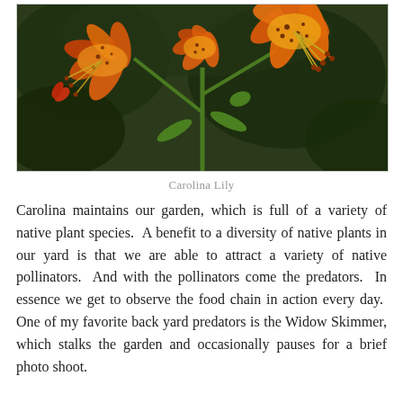[Figure (photo): Close-up photograph of Carolina Lily flowers with orange-yellow petals spotted with dark red/maroon spots, with long curved stamens, against a dark green blurred background.]
Carolina Lily
Carolina maintains our garden, which is full of a variety of native plant species.  A benefit to a diversity of native plants in our yard is that we are able to attract a variety of native pollinators.  And with the pollinators come the predators.  In essence we get to observe the food chain in action every day.  One of my favorite back yard predators is the Widow Skimmer, which stalks the garden and occasionally pauses for a brief photo shoot.